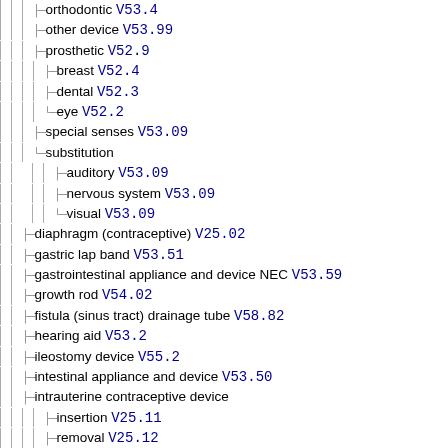orthodontic V53.4
other device V53.99
prosthetic V52.9
breast V52.4
dental V52.3
eye V52.2
special senses V53.09
substitution
auditory V53.09
nervous system V53.09
visual V53.09
diaphragm (contraceptive) V25.02
gastric lap band V53.51
gastrointestinal appliance and device NEC V53.59
growth rod V54.02
fistula (sinus tract) drainage tube V58.82
hearing aid V53.2
ileostomy device V55.2
intestinal appliance and device V53.50
intrauterine contraceptive device
insertion V25.11
removal V25.12
and reinsertion V25.13